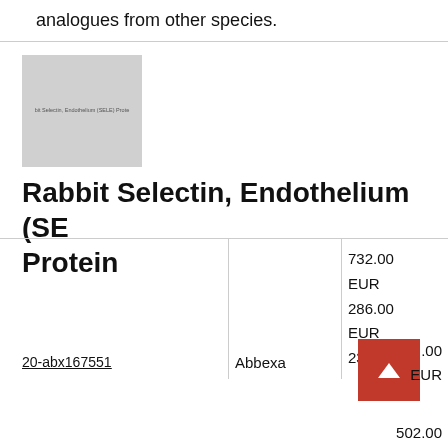analogues from other species.
[Figure (photo): Product image thumbnail for Rabbit Selectin, Endothelium (SELE) Protein with small label text overlaid]
Rabbit Selectin, Endothelium (SELE) Protein
|  |  | Price |
| --- | --- | --- |
| 20-abx167551 | Abbexa | 732.00 EUR
286.00 EUR
2305.00 EUR
.00 EUR
EUR
502.00 |